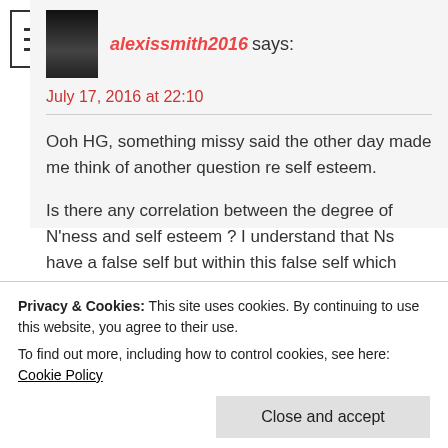[Figure (illustration): Hamburger menu icon with three horizontal lines inside a square border]
alexissmith2016 says:
July 17, 2016 at 22:10
Ooh HG, something missy said the other day made me think of another question re self esteem.

Is there any correlation between the degree of N'ness and self esteem ? I understand that Ns have a false self but within this false self which essentially is their personalities do they have self
Privacy & Cookies: This site uses cookies. By continuing to use this website, you agree to their use.
To find out more, including how to control cookies, see here: Cookie Policy

Close and accept